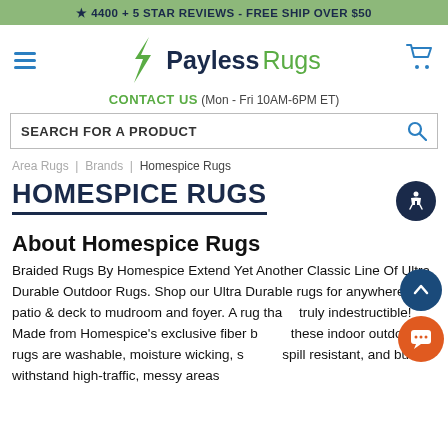★ 4400 + 5 STAR REVIEWS - FREE SHIP OVER $50
[Figure (logo): Payless Rugs logo with lightning bolt icon, hamburger menu and cart icon]
CONTACT US (Mon - Fri 10AM-6PM ET)
SEARCH FOR A PRODUCT
Area Rugs | Brands | Homespice Rugs
HOMESPICE RUGS
About Homespice Rugs
Braided Rugs By Homespice Extend Yet Another Classic Line Of Ultra Durable Outdoor Rugs. Shop our Ultra Durable rugs for anywhere from patio & deck to mudroom and foyer. A rug that's truly indestructible! Made from Homespice's exclusive fiber blend, these indoor outdoor rugs are washable, moisture wicking, stain & spill resistant, and built to withstand high-traffic, messy areas